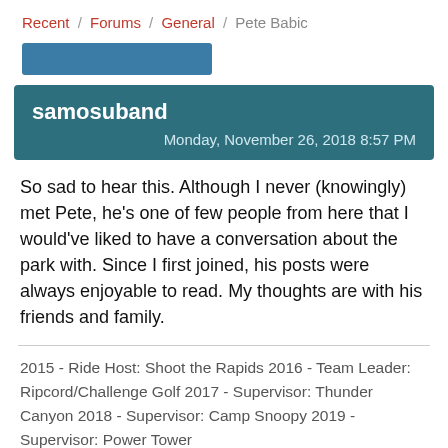Recent / Forums / General / Pete Babic
samosuband
Monday, November 26, 2018 8:57 PM
So sad to hear this. Although I never (knowingly) met Pete, he's one of few people from here that I would've liked to have a conversation about the park with. Since I first joined, his posts were always enjoyable to read. My thoughts are with his friends and family.
2015 - Ride Host: Shoot the Rapids 2016 - Team Leader: Ripcord/Challenge Golf 2017 - Supervisor: Thunder Canyon 2018 - Supervisor: Camp Snoopy 2019 - Supervisor: Power Tower
+2   Link